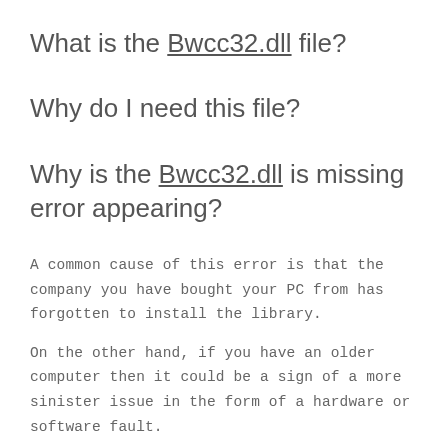What is the Bwcc32.dll file?
Why do I need this file?
Why is the Bwcc32.dll is missing error appearing?
A common cause of this error is that the company you have bought your PC from has forgotten to install the library.
On the other hand, if you have an older computer then it could be a sign of a more sinister issue in the form of a hardware or software fault.